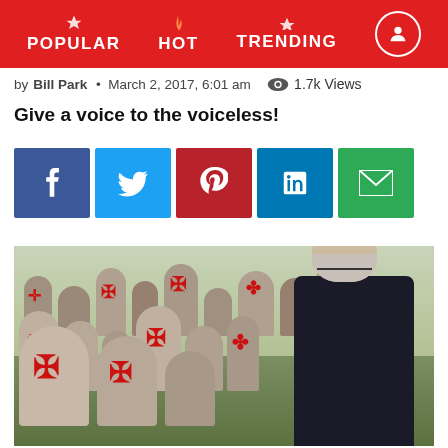POPULAR  HOT  TRENDING
by Bill Park • March 2, 2017, 6:01 am  1.7k Views
Give a voice to the voiceless!
[Figure (other): Social media sharing buttons: Facebook, Twitter, Pinterest, LinkedIn, Email]
[Figure (photo): An elderly Jewish man wearing a kippah views a Jewish cemetery with gravestones vandalized with red swastika graffiti]